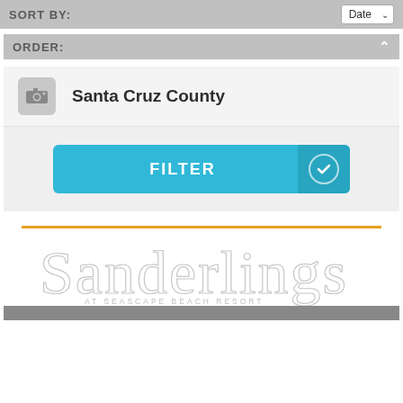SORT BY: Date
ORDER:
Santa Cruz County
FILTER
[Figure (logo): Sanderlings at Seascape Beach Resort logo with orange line above and light gray script lettering]